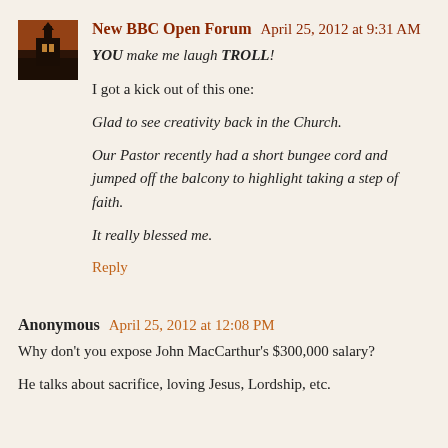[Figure (photo): Small square avatar image showing a church building at dusk/sunset with orange sky]
New BBC Open Forum  April 25, 2012 at 9:31 AM
YOU make me laugh TROLL!
I got a kick out of this one:
Glad to see creativity back in the Church.
Our Pastor recently had a short bungee cord and jumped off the balcony to highlight taking a step of faith.
It really blessed me.
Reply
Anonymous  April 25, 2012 at 12:08 PM
Why don't you expose John MacCarthur's $300,000 salary?
He talks about sacrifice, loving Jesus, Lordship, etc.